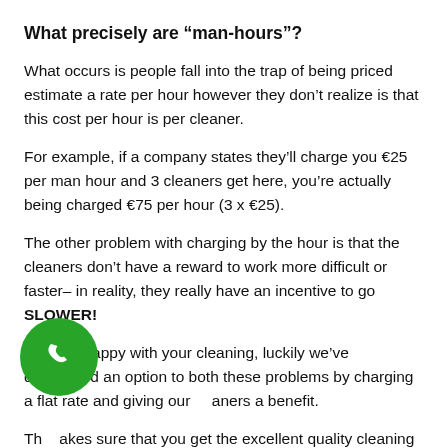What precisely are “man-hours”?
What occurs is people fall into the trap of being priced estimate a rate per hour however they don’t realize is that this cost per hour is per cleaner.
For example, if a company states they’ll charge you €25 per man hour and 3 cleaners get here, you’re actually being charged €75 per hour (3 x €25).
The other problem with charging by the hour is that the cleaners don’t have a reward to work more difficult or faster– in reality, they really have an incentive to go SLOWER!
If you’re happy with your cleaning, luckily we’ve discovered an option to both these problems by charging a flat rate and giving our cleaners a benefit.
This makes sure that you get the excellent quality cleaning that you’re trying to find, without the responsibility that the workers…